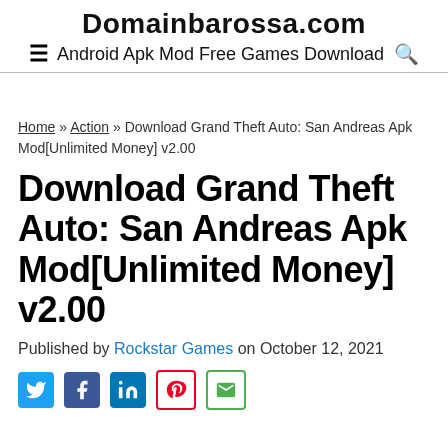Domainbarossa.com
Android Apk Mod Free Games Download
Home » Action » Download Grand Theft Auto: San Andreas Apk Mod[Unlimited Money] v2.00
Download Grand Theft Auto: San Andreas Apk Mod[Unlimited Money] v2.00
Published by Rockstar Games on October 12, 2021
[Figure (infographic): Social sharing icons: Twitter (blue bird), Facebook (blue f), LinkedIn (blue in), Pinterest (red P), Email (green envelope)]